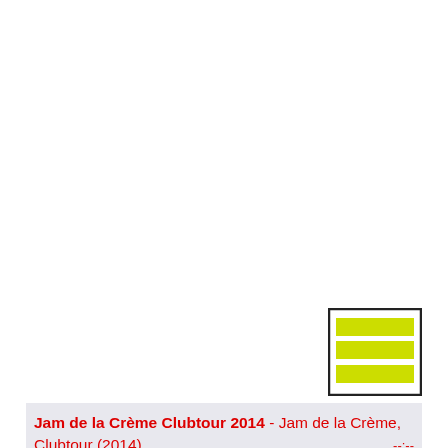[Figure (other): A menu/hamburger icon consisting of three horizontal yellow-green filled rectangles stacked inside a dark bordered box]
Jam de la Crème Clubtour 2014 - Jam de la Crème, Clubtour (2014) .............................................................. --:--